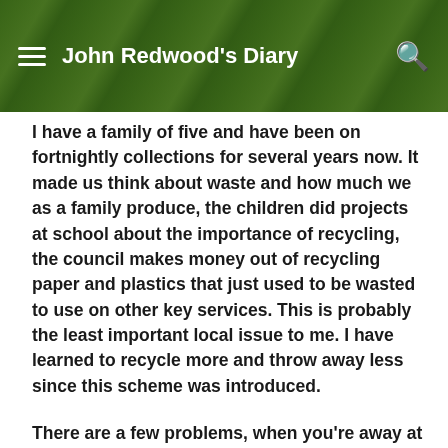John Redwood's Diary
I have a family of five and have been on fortnightly collections for several years now. It made us think about waste and how much we as a family produce, the children did projects at school about the importance of recycling, the council makes money out of recycling paper and plastics that just used to be wasted to use on other key services. This is probably the least important local issue to me. I have learned to recycle more and throw away less since this scheme was introduced.
There are a few problems, when you're away at the same time as your neighbour your bin doesn't get collected for four weeks and there is an issue over Christmas. The local council could sort this out quite easily by having a once a year assisted bin collection that you can book and allowing for a